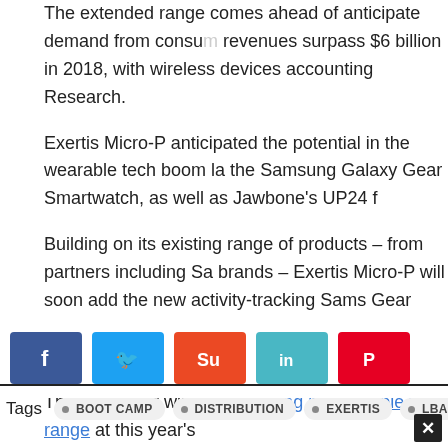The extended range comes ahead of anticipated demand from consumers, with global wearable tech revenues surpass $6 billion in 2018, with wireless devices accounting for a significant share, according to IHS Research.
Exertis Micro-P anticipated the potential in the wearable tech boom last Autumn when it started distributing the Samsung Galaxy Gear Smartwatch, as well as Jawbone's UP24 fitness tracker.
Building on its existing range of products – from partners including Samsung, Jawbone, Polar and other leading brands – Exertis Micro-P will soon add the new activity-tracking Samsung Gear 2 and Gear 2 Neo, plus the Gear Neo range of colourful straps, to create a wearable attach opportunity for retailers and resellers.
The distributor will be presenting its wearable tech range at this year's
The exhibition and conference event takes place on May 21st at The B retailers and resellers – register here to secure your place or view the
[Figure (infographic): Social sharing buttons: Facebook (blue), Twitter (light blue), StumbleUpon (orange-red), LinkedIn (teal), Pinterest (red)]
Tags  • BOOT CAMP  • DISTRIBUTION  • EXERTIS  • LBARNESNBMEDIA-CO